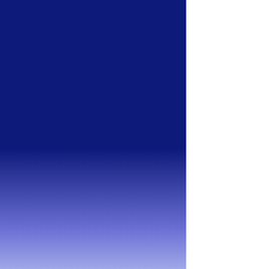[Figure (illustration): Left panel with blue gradient background, dark blue at top fading to light periwinkle/lavender at bottom]
02/12/2019
Auction 167
World Banknote
02/12/2019
Auction 167
World Banknote